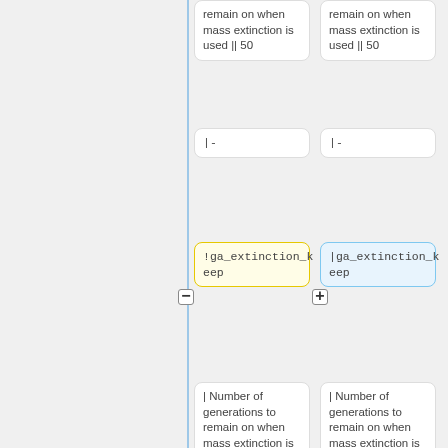remain on when mass extinction is used || 50
remain on when mass extinction is used || 50
|-
|-
!ga_extinction_keep
|ga_extinction_keep
| Number of generations to remain on when mass extinction is used || 20
| Number of generations to remain on when mass extinction is used || 20
|-
|-
!ga_extinction_switch_selection
|ga_extinction_switch_selection
| Change selection type when mass extinction is used || no
| Change selection type when mass extinction is used || no